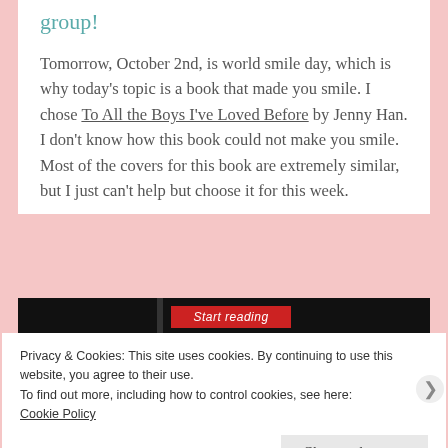group!
Tomorrow, October 2nd, is world smile day, which is why today's topic is a book that made you smile. I chose To All the Boys I've Loved Before by Jenny Han. I don't know how this book could not make you smile. Most of the covers for this book are extremely similar, but I just can't help but choose it for this week.
[Figure (screenshot): Black banner with a red 'Start Reading' button in the center and a dark vertical bar on the left side]
Privacy & Cookies: This site uses cookies. By continuing to use this website, you agree to their use.
To find out more, including how to control cookies, see here:
Cookie Policy
Close and accept